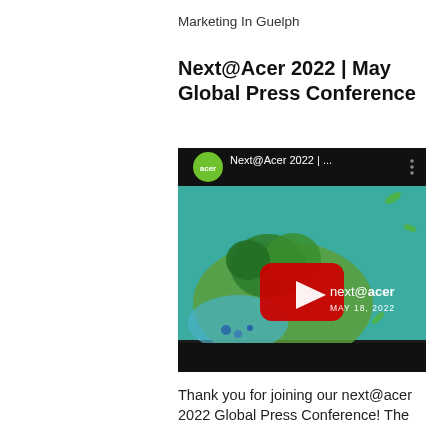Marketing In Guelph
Next@Acer 2022 | May Global Press Conference
[Figure (screenshot): YouTube video thumbnail for Next@Acer 2022 May Global Press Conference, dated MAY 18, 2022. Shows Acer green circle logo in top-left, video title 'Next@Acer 2022 | ...' and a red YouTube play button overlay on a teal nature scene with a small planet-like landmass featuring trees and greenery. 'next@acer MAY 18, 2022' text visible on right side.]
Thank you for joining our next@acer 2022 Global Press Conference! The